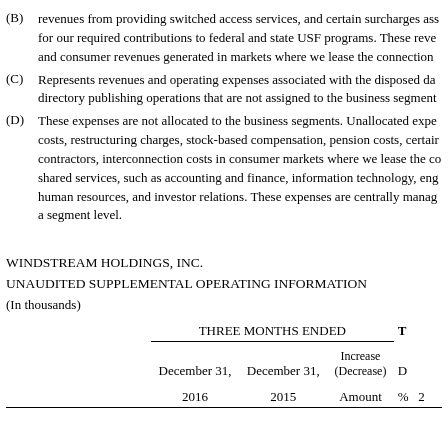(B) revenues from providing switched access services, and certain surcharges assessed for our required contributions to federal and state USF programs. These revenues and consumer revenues generated in markets where we lease the connection
(C) Represents revenues and operating expenses associated with the disposed data directory publishing operations that are not assigned to the business segments.
(D) These expenses are not allocated to the business segments. Unallocated expenses costs, restructuring charges, stock-based compensation, pension costs, certain contractors, interconnection costs in consumer markets where we lease the connection, shared services, such as accounting and finance, information technology, engineering, human resources, and investor relations. These expenses are centrally managed at a segment level.
WINDSTREAM HOLDINGS, INC.
UNAUDITED SUPPLEMENTAL OPERATING INFORMATION
(In thousands)
|  | THREE MONTHS ENDED |  |  |  | T |
| --- | --- | --- | --- | --- | --- |
|  | December 31, | December 31, | Increase (Decrease) |  | D |
|  | 2016 | 2015 | Amount | % | 2 |